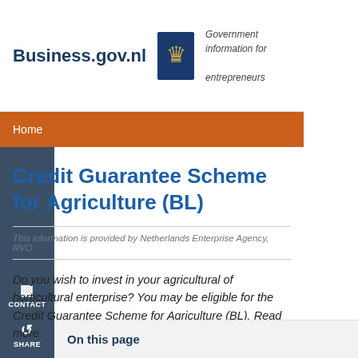Business.gov.nl — Government information for entrepreneurs
Home
Credit Guarantee Scheme for Agriculture (BL)
This information is provided by Netherlands Enterprise Agency, RVO
Do you wish to invest in your agricultural of horticultural enterprise? You may be eligible for the Credit Guarantee Scheme for Agriculture (BL). Read more.
On this page